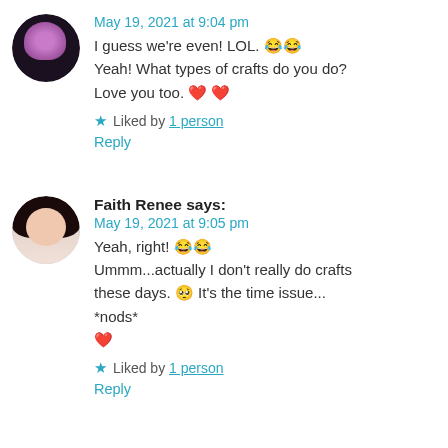May 19, 2021 at 9:04 pm
I guess we're even! LOL. 😂😂
Yeah! What types of crafts do you do?
Love you too. ❤️❤️
★ Liked by 1 person
Reply
Faith Renee says:
May 19, 2021 at 9:05 pm
Yeah, right! 😂😂
Ummm...actually I don't really do crafts these days. 🥺 It's the time issue...
*nods*
❤️
★ Liked by 1 person
Reply